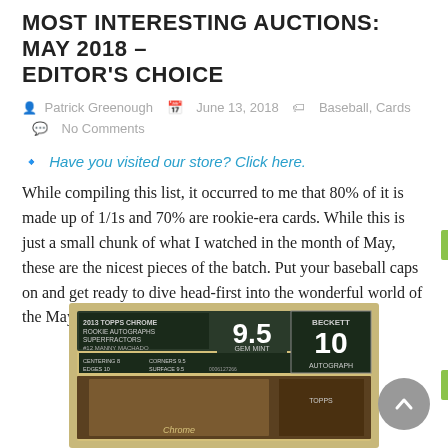MOST INTERESTING AUCTIONS: MAY 2018 – EDITOR'S CHOICE
Patrick Greenough   June 13, 2018   Baseball, Cards   No Comments
🔴 Have you visited our store? Click here.
While compiling this list, it occurred to me that 80% of it is made up of 1/1s and 70% are rookie-era cards. While this is just a small chunk of what I watched in the month of May, these are the nicest pieces of the batch. Put your baseball caps on and get ready to dive head-first into the wonderful world of the May 2018 Editor's Choice. Here we go!
[Figure (photo): Graded baseball card in plastic case showing BGS 9.5 GEM MINT grade with Beckett 10 Autograph sub-grade for a 2013 Topps Chrome Rookie Autographs Superfractors #12 Manny Machado card]